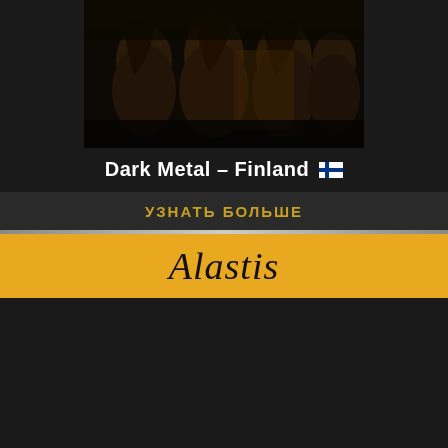[Figure (photo): Band photo of dark metal group with long hair against dark background, top portion of page]
Dark Metal - Finland 🇫🇮
УЗНАТЬ БОЛЬШЕ
Alastis
[Figure (photo): Black and white photo of four band members in black clothing with long dark hair, posed against white background]